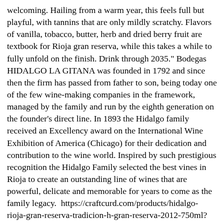welcoming. Hailing from a warm year, this feels full but playful, with tannins that are only mildly scratchy. Flavors of vanilla, tobacco, butter, herb and dried berry fruit are textbook for Rioja gran reserva, while this takes a while to fully unfold on the finish. Drink through 2035." Bodegas HIDALGO LA GITANA was founded in 1792 and since then the firm has passed from father to son, being today one of the few wine-making companies in the framework, managed by the family and run by the eighth generation on the founder's direct line. In 1893 the Hidalgo family received an Excellency award on the International Wine Exhibition of America (Chicago) for their dedication and contribution to the wine world. Inspired by such prestigious recognition the Hidalgo Family selected the best vines in Rioja to create an outstanding line of wines that are powerful, delicate and memorable for years to come as the family legacy.  https://craftcurd.com/products/hidalgo-rioja-gran-reserva-tradicion-h-gran-reserva-2012-750ml?variant=30143593021463 http://cdn.shopify.com/s/files/1/0848/5288/products/hidalgo-rioja-gran-reserva-tradicion-h-gran-reserva-2012---750ml-22755521_grande.jpg?v=1569969671 21.99 USD USD Hidalgo Wine Red 750mL Tempranillo Rioja shopify_US_6770400264215_40181431861271 95 Points James HallidaySoft silky mouthfeel greets you before you discover rich layers of blackberries, dark raspberries, plums and spices. This is a big rich wine with loads of depth and complexity that will demand a rich beef or strip Sirloin dish to match its size. My guess is this